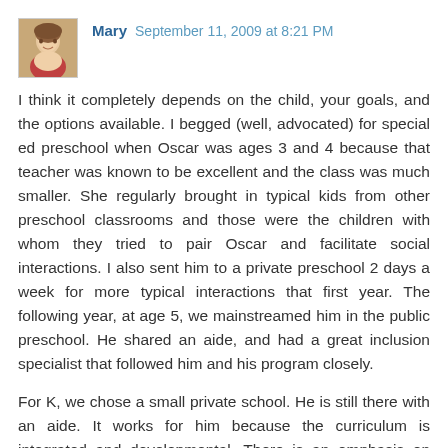[Figure (photo): Small square avatar photo of a woman named Mary, showing her face and upper body]
Mary  September 11, 2009 at 8:21 PM
I think it completely depends on the child, your goals, and the options available. I begged (well, advocated) for special ed preschool when Oscar was ages 3 and 4 because that teacher was known to be excellent and the class was much smaller. She regularly brought in typical kids from other preschool classrooms and those were the children with whom they tried to pair Oscar and facilitate social interactions. I also sent him to a private preschool 2 days a week for more typical interactions that first year. The following year, at age 5, we mainstreamed him in the public preschool. He shared an aide, and had a great inclusion specialist that followed him and his program closely.
For K, we chose a small private school. He is still there with an aide. It works for him because the curriculum is integrated and developmental. There is an emphasis on diversity and celebrating individual strengths. He has been with the same 18-19 kids for 4 years now so they know Oscar well. It's a small supportive community of caring